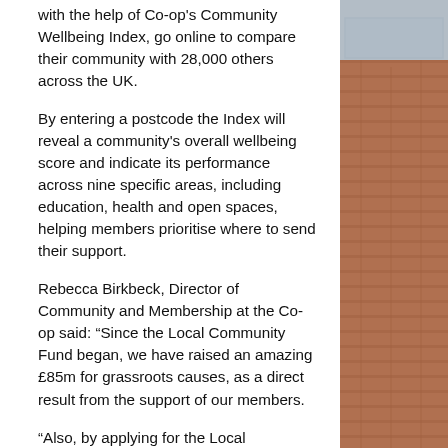with the help of Co-op's Community Wellbeing Index, go online to compare their community with 28,000 others across the UK.
By entering a postcode the Index will reveal a community's overall wellbeing score and indicate its performance across nine specific areas, including education, health and open spaces, helping members prioritise where to send their support.
Rebecca Birkbeck, Director of Community and Membership at the Co-op said: “Since the Local Community Fund began, we have raised an amazing £85m for grassroots causes, as a direct result from the support of our members.
“Also, by applying for the Local Community Fund, groups will join our online community centre, Co-operate, which can help them find additional resources, as well as further donations, making this not just a fund, but a partnership.
“Even if a funding application is not successful, the group will still be a part of a network of over 12,000 groups on Co-operate.
[Figure (photo): Partial view of a brick building exterior, partially visible on the right side of the page.]